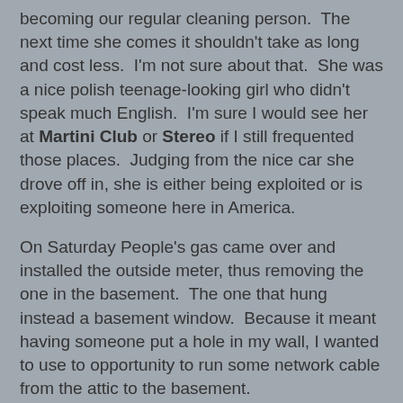becoming our regular cleaning person.  The next time she comes it shouldn't take as long and cost less.  I'm not sure about that.  She was a nice polish teenage-looking girl who didn't speak much English.  I'm sure I would see her at Martini Club or Stereo if I still frequented those places.  Judging from the nice car she drove off in, she is either being exploited or is exploiting someone here in America.
On Saturday People's gas came over and installed the outside meter, thus removing the one in the basement.  The one that hung instead a basement window.  Because it meant having someone put a hole in my wall, I wanted to use to opportunity to run some network cable from the attic to the basement.
Unfortunately, I've had this back/muscle injury that has made movement and flexibility a bit of an issue. By the time the ibuprofen kicked in and I was feeling well enough to attempt running the cable down, the guys were almost finished and the carpenter was about to seal the wall.  I should have started sooner and asked him to make a bigger hole in the wall.  To his credit, the carpenter only cut